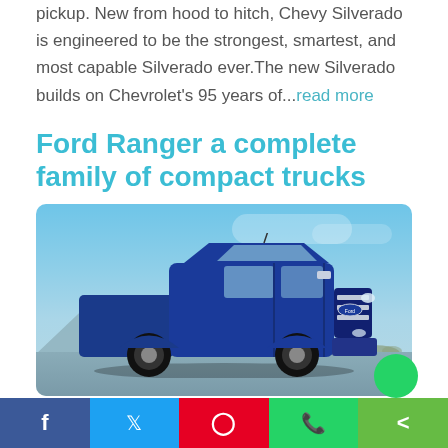pickup. New from hood to hitch, Chevy Silverado is engineered to be the strongest, smartest, and most capable Silverado ever.The new Silverado builds on Chevrolet's 95 years of...read more
Ford Ranger a complete family of compact trucks
[Figure (photo): Blue Ford Ranger pickup truck photographed outdoors against a blue sky with mountains in the background]
Facebook | Twitter | Pinterest | WhatsApp | Share